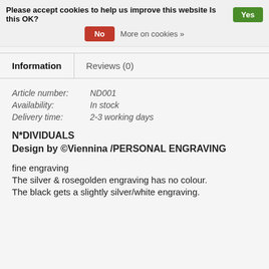Please accept cookies to help us improve this website Is this OK? Yes
No  More on cookies »
Information
Reviews (0)
Article number:  ND001
Availability:  In stock
Delivery time:  2-3 working days
N*DIVIDUALS
Design by ©Viennina /PERSONAL ENGRAVING
fine engraving
The silver & rosegolden engraving has no colour.
The black gets a slightly silver/white engraving.